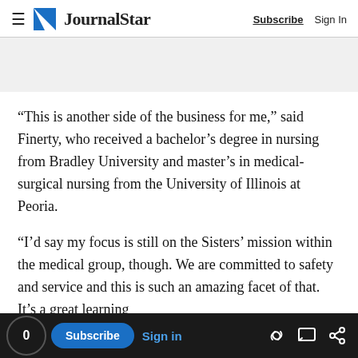≡ JournalStar  Subscribe  Sign In
[Figure (other): Gray advertisement/banner placeholder area]
“This is another side of the business for me,” said Finerty, who received a bachelor’s degree in nursing from Bradley University and master’s in medical-surgical nursing from the University of Illinois at Peoria.
“I’d say my focus is still on the Sisters’ mission within the medical group, though. We are committed to safety and service and this is such an amazing facet of that. It’s a great learning
0  Subscribe  Sign in